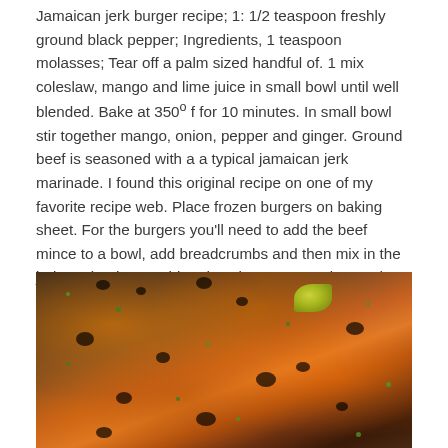Jamaican jerk burger recipe; 1: 1/2 teaspoon freshly ground black pepper; Ingredients, 1 teaspoon molasses; Tear off a palm sized handful of. 1 mix coleslaw, mango and lime juice in small bowl until well blended. Bake at 350º f for 10 minutes. In small bowl stir together mango, onion, pepper and ginger. Ground beef is seasoned with a a typical jamaican jerk marinade. I found this original recipe on one of my favorite recipe web. Place frozen burgers on baking sheet. For the burgers you'll need to add the beef mince to a bowl, add breadcrumbs and then mix in the jerk marinade. Combine dressing, mayonnaise, and seasoning.
[Figure (photo): Overhead photo of Jamaican jerk chicken pieces on a dark slate surface, garnished with fresh green herbs (cilantro/parsley) and a lime wedge. The chicken has charred, caramelized skin with deep orange-brown coloring typical of jerk seasoning.]